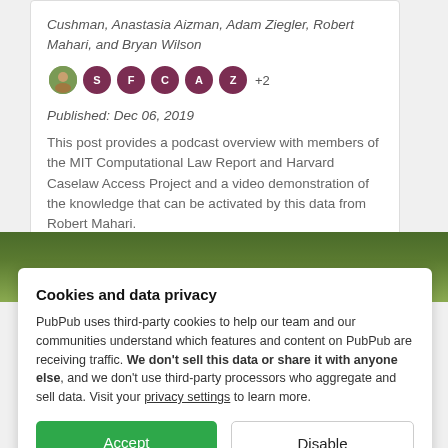Cushman, Anastasia Aizman, Adam Ziegler, Robert Mahari, and Bryan Wilson
[Figure (other): Author avatar icons: photo avatar and four lettered circles (S, F, C, A, Z) in dark maroon, plus +2 indicator]
Published: Dec 06, 2019
This post provides a podcast overview with members of the MIT Computational Law Report and Harvard Caselaw Access Project and a video demonstration of the knowledge that can be activated by this data from Robert Mahari.
[Figure (photo): Green textured background banner (grass/plant photograph)]
Cookies and data privacy
PubPub uses third-party cookies to help our team and our communities understand which features and content on PubPub are receiving traffic. We don't sell this data or share it with anyone else, and we don't use third-party processors who aggregate and sell data. Visit your privacy settings to learn more.
Accept
Disable